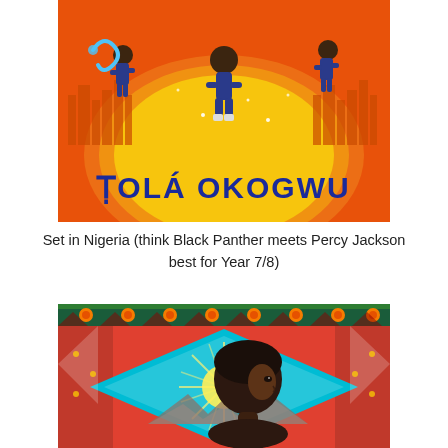[Figure (illustration): Book cover illustration for a book by Tola Okogwu. Orange and yellow background with a glowing sun/globe. Several dark-skinned children in dynamic poses with magical elements (glowing blue serpent, sparkles, cityscape silhouette). Large bold blue text reads 'TOLA OKOGWU' across the bottom of the cover.]
Set in Nigeria (think Black Panther meets Percy Jackson best for Year 7/8)
[Figure (illustration): Partial book cover illustration showing the top portion. Decorative African-pattern border at the top with geometric shapes and orange/red/green motifs. Below is a diamond-shaped frame with a teal/blue background and radiating yellow sunburst. A young Black child (side profile, looking upward) is shown from the shoulders up with close-cropped natural hair. Background shows red curtains on the sides and mountains/landscape.]